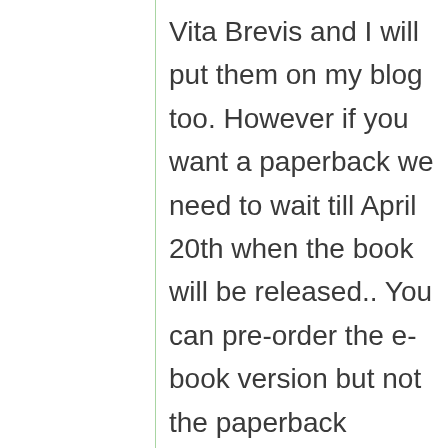Vita Brevis and I will put them on my blog too. However if you want a paperback we need to wait till April 20th when the book will be released.. You can pre-order the e-book version but not the paperback version. Tey the painting on the cover is special It done by a women that I love. Thank you honey bun